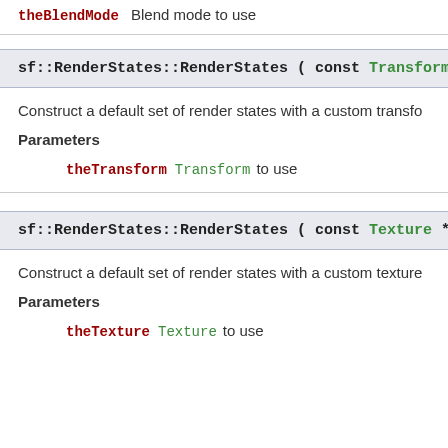theBlendMode Blend mode to use
sf::RenderStates::RenderStates ( const Transform & theT
Construct a default set of render states with a custom transfo
Parameters
theTransform Transform to use
sf::RenderStates::RenderStates ( const Texture * theText
Construct a default set of render states with a custom texture
Parameters
theTexture Texture to use